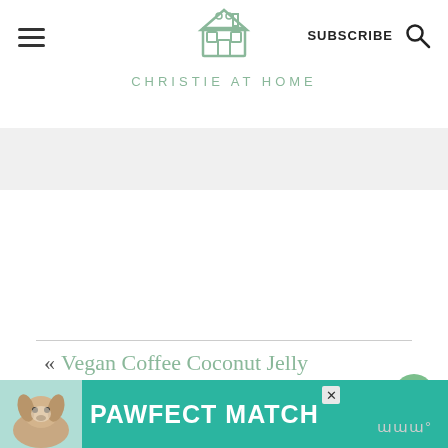CHRISTIE AT HOME
« Vegan Coffee Coconut Jelly
Sriracha Mayo Salmon »
[Figure (infographic): PAWFECT MATCH advertisement banner with dog image]